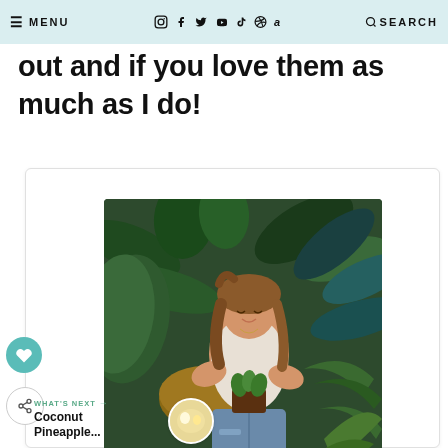☰ MENU   [instagram] [facebook] [twitter] [youtube] [tiktok] [pinterest] [amazon]   🔍 SEARCH
out and if you love them as much as I do!
[Figure (photo): A woman sitting among many green houseplants, smiling and holding a small potted plant. The setting is a lush indoor plant collection with various tropical leaves surrounding her. She wears a white tank top and ripped jeans.]
WHAT'S NEXT → Coconut Pineapple...